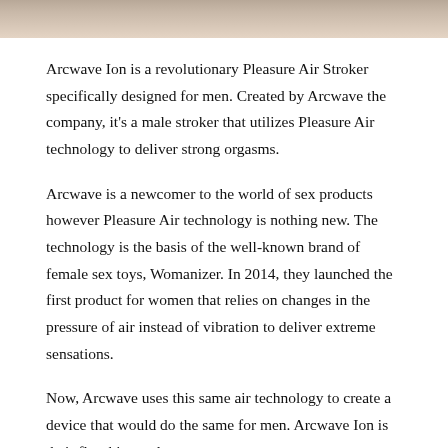[Figure (photo): Top portion of a product photo, cropped, showing a beige/neutral background]
Arcwave Ion is a revolutionary Pleasure Air Stroker specifically designed for men. Created by Arcwave the company, it's a male stroker that utilizes Pleasure Air technology to deliver strong orgasms.
Arcwave is a newcomer to the world of sex products however Pleasure Air technology is nothing new. The technology is the basis of the well-known brand of female sex toys, Womanizer. In 2014, they launched the first product for women that relies on changes in the pressure of air instead of vibration to deliver extreme sensations.
Now, Arcwave uses this same air technology to create a device that would do the same for men. Arcwave Ion is their flagship product.
The Ion is completely submersible and waterproof, and has eight settings for intensity. It's designed to activate thousands of nerve